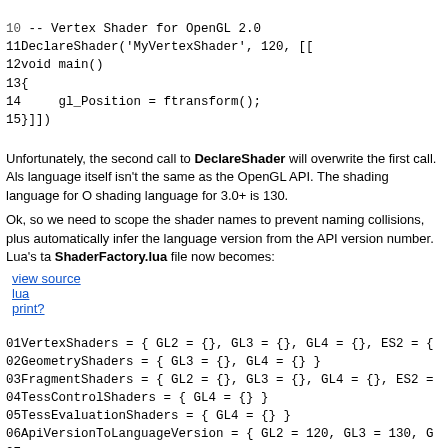10 -- Vertex Shader for OpenGL 2.0
11 DeclareShader('MyVertexShader', 120, [[
12 void main()
13 {
14     gl_Position = ftransform();
15 }]])
Unfortunately, the second call to DeclareShader will overwrite the first call. Also, the shading language itself isn't the same as the OpenGL API. The shading language for OpenGL 2.0 is 120, and the shading language for 3.0+ is 130.
Ok, so we need to scope the shader names to prevent naming collisions, plus we need to automatically infer the language version from the API version number. Lua's table magic. The ShaderFactory.lua file now becomes:
view source
lua
print?
01 VertexShaders = { GL2 = {}, GL3 = {}, GL4 = {}, ES2 = {
02 GeometryShaders = { GL3 = {}, GL4 = {} }
03 FragmentShaders = { GL2 = {}, GL3 = {}, GL4 = {}, ES2 =
04 TessControlShaders = { GL4 = {} }
05 TessEvaluationShaders = { GL4 = {} }
06 ApiVersionToLanguageVersion = { GL2 = 120, GL3 = 130, G
07
08 function DeclareShader(stage, apiVersion, techniqueName